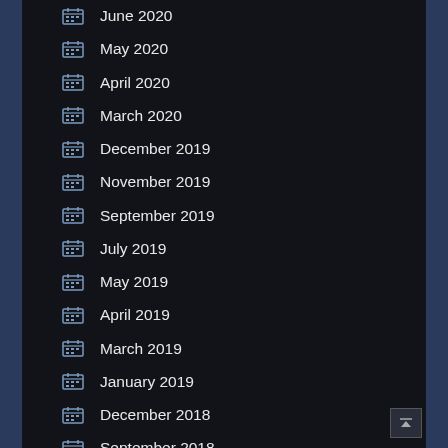June 2020
May 2020
April 2020
March 2020
December 2019
November 2019
September 2019
July 2019
May 2019
April 2019
March 2019
January 2019
December 2018
September 2018
August 2018
July 2018